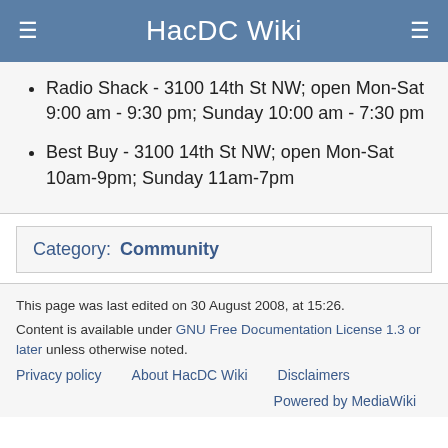HacDC Wiki
Radio Shack - 3100 14th St NW; open Mon-Sat 9:00 am - 9:30 pm; Sunday 10:00 am - 7:30 pm
Best Buy - 3100 14th St NW; open Mon-Sat 10am-9pm; Sunday 11am-7pm
Category:  Community
This page was last edited on 30 August 2008, at 15:26. Content is available under GNU Free Documentation License 1.3 or later unless otherwise noted. Privacy policy   About HacDC Wiki   Disclaimers   Powered by MediaWiki